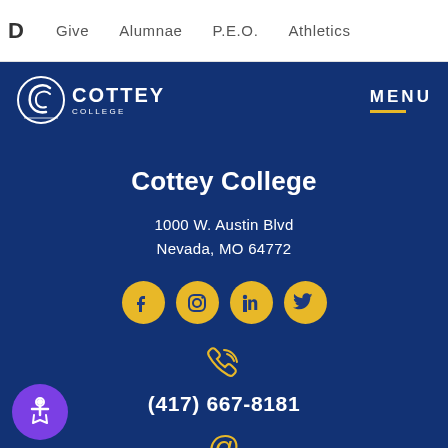D  Give  Alumnae  P.E.O.  Athletics
[Figure (logo): Cottey College logo — stylized C with circle and text COTTEY COLLEGE]
MENU
Cottey College
1000 W. Austin Blvd
Nevada, MO 64772
[Figure (infographic): Social media icons: Facebook, Instagram, LinkedIn, Twitter — gold circles]
[Figure (infographic): Phone icon (gold)]
(417) 667-8181
[Figure (infographic): At-sign icon (gold)]
Admission: admit@cottey.edu
[Figure (infographic): Accessibility button — purple circle with wheelchair icon]